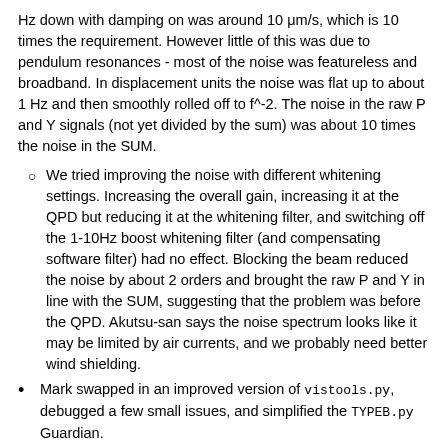Hz down with damping on was around 10 μm/s, which is 10 times the requirement. However little of this was due to pendulum resonances - most of the noise was featureless and broadband. In displacement units the noise was flat up to about 1 Hz and then smoothly rolled off to f^-2. The noise in the raw P and Y signals (not yet divided by the sum) was about 10 times the noise in the SUM.
We tried improving the noise with different whitening settings. Increasing the overall gain, increasing it at the QPD but reducing it at the whitening filter, and switching off the 1-10Hz boost whitening filter (and compensating software filter) had no effect. Blocking the beam reduced the noise by about 2 orders and brought the raw P and Y in line with the SUM, suggesting that the problem was before the QPD. Akutsu-san says the noise spectrum looks like it may be limited by air currents, and we probably need better wind shielding.
Mark swapped in an improved version of vistools.py, debugged a few small issues, and simplified the TYPEB.py Guardian.
Fabian embarked on a project to calculate the residual motion within KAGRA's observation band (beginning at 10 Hz) to make sure The Type B suspension fulfills the requirement,